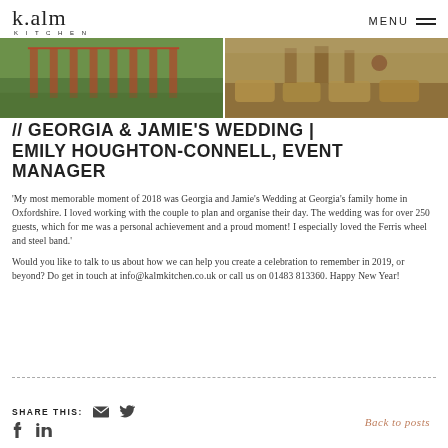k.alm KITCHEN   MENU
[Figure (photo): Two photos side by side: left shows a green field/lawn with marquee structures; right shows a rustic outdoor wedding setting with hay bales and warm tones.]
// GEORGIA & JAMIE'S WEDDING | EMILY HOUGHTON-CONNELL, EVENT MANAGER
'My most memorable moment of 2018 was Georgia and Jamie's Wedding at Georgia's family home in Oxfordshire. I loved working with the couple to plan and organise their day. The wedding was for over 250 guests, which for me was a personal achievement and a proud moment! I especially loved the Ferris wheel and steel band.'
Would you like to talk to us about how we can help you create a celebration to remember in 2019, or beyond? Do get in touch at info@kalmkitchen.co.uk or call us on 01483 813360. Happy New Year!
SHARE THIS: [email icon] [twitter icon] [facebook icon] [linkedin icon]   Back to posts